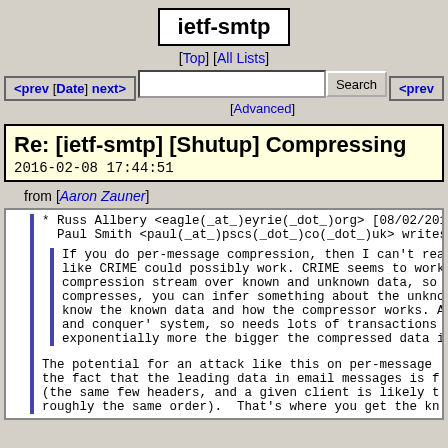ietf-smtp
[Top] [All Lists]
[Advanced]
<prev [Date] next>  <prev
Re: [ietf-smtp] [Shutup] Compressing
2016-02-08 17:44:51
from [Aaron Zauner]
* Russ Allbery <eagle(_at_)eyrie(_dot_)org> [08/02/2016
  Paul Smith <paul(_at_)pscs(_dot_)co(_dot_)uk> writes:

    If you do per-message compression, then I can't rea
    like CRIME could possibly work. CRIME seems to work
    compression stream over known and unknown data, so
    compresses, you can infer something about the unkno
    know the known data and how the compressor works. A
    and conquer' system, so needs lots of transactions
    exponentially more the bigger the compressed data i

  The potential for an attack like this on per-message
  the fact that the leading data in email messages is f
  (the same few headers, and a given client is likely t
  roughly the same order).  That's where you get the kn